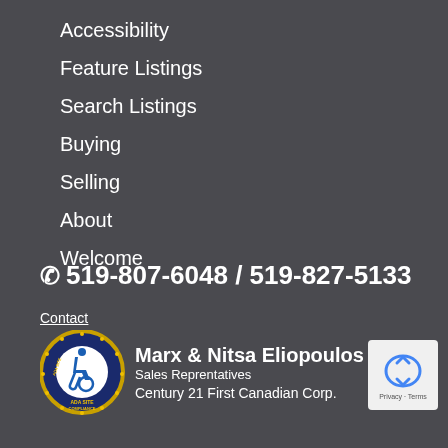Accessibility
Feature Listings
Search Listings
Buying
Selling
About
Welcome
📞 519-807-6048 / 519-827-5133
Contact
[Figure (logo): ADA Site Compliance badge with wheelchair accessibility icon in blue and gold circular design]
Marx & Nitsa Eliopoulos
Sales Representatives
Century 21 First Canadian Corp.
[Figure (logo): Google reCAPTCHA logo with Privacy and Terms text]